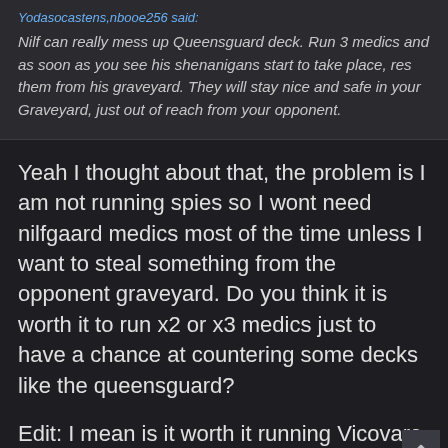Nilf can really mess up Queensguard deck. Run 3 medics and as soon as you see his shenanigans start to take place, res them from his graveyard. They will stay nice and safe in your Graveyard, just out of reach from your opponent.
Yeah I thought about that, the problem is I am not running spies so I wont need nilfgaard medics most of the time unless I want to steal something from the opponent graveyard. Do you think it is worth it to run x2 or x3 medics just to have a chance at countering some decks like the queensguard?
Edit: I mean is it worth it running Vicovaro Medics without having any spies just to counter Queensguard?